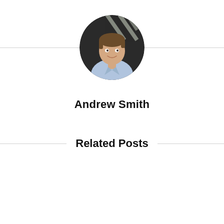[Figure (photo): Circular profile photo of a young man in a light blue shirt, smiling, with a dark background]
Andrew Smith
Related Posts